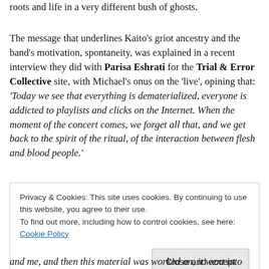roots and life in a very different bush of ghosts.
The message that underlines Kaito's griot ancestry and the band's motivation, spontaneity, was explained in a recent interview they did with Parisa Eshrati for the Trial & Error Collective site, with Michael's onus on the 'live', opining that: 'Today we see that everything is dematerialized, everyone is addicted to playlists and clicks on the Internet. When the moment of the concert comes, we forget all that, and we get back to the spirit of the ritual, of the interaction between flesh and blood people.'
Privacy & Cookies: This site uses cookies. By continuing to use this website, you agree to their use.
To find out more, including how to control cookies, see here: Cookie Policy
and me, and then this material was worked on, it went into